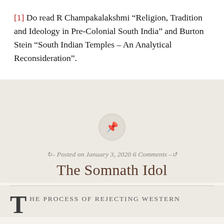[1] Do read R Champakalakshmi “Religion, Tradition and Ideology in Pre-Colonial South India” and Burton Stein “South Indian Temples – An Analytical Reconsideration”.
Posted on January 3, 2020 6 Comments
The Somnath Idol
HE PROCESS OF REJECTING WESTERN